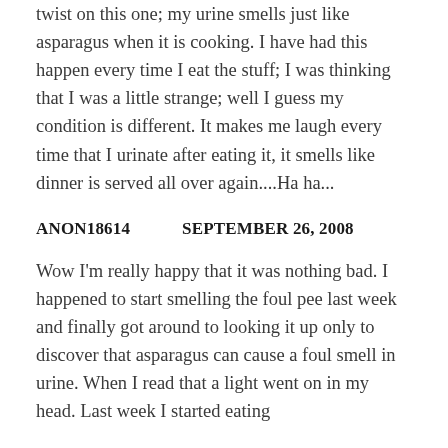twist on this one; my urine smells just like asparagus when it is cooking. I have had this happen every time I eat the stuff; I was thinking that I was a little strange; well I guess my condition is different. It makes me laugh every time that I urinate after eating it, it smells like dinner is served all over again....Ha ha...
ANON18614    SEPTEMBER 26, 2008
Wow I'm really happy that it was nothing bad. I happened to start smelling the foul pee last week and finally got around to looking it up only to discover that asparagus can cause a foul smell in urine. When I read that a light went on in my head. Last week I started eating